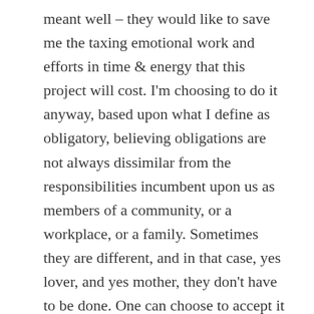meant well – they would like to save me the taxing emotional work and efforts in time & energy that this project will cost. I'm choosing to do it anyway, based upon what I define as obligatory, believing obligations are not always dissimilar from the responsibilities incumbent upon us as members of a community, or a workplace, or a family. Sometimes they are different, and in that case, yes lover, and yes mother, they don't have to be done. One can choose to accept it or not accept it. For good reason though, I feel that this project both is and is not my choice. It's an obligation I have no choice about but also, a responsibility I choose to accept.
This project began after a few phone calls lead to a manila envelope of loose pages arriving in my mailbox in the late fall of 2019. It had six forever stamps in the top